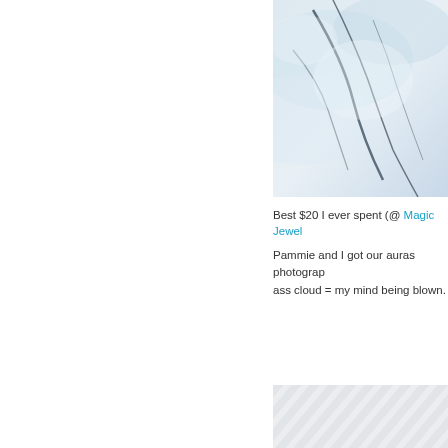[Figure (photo): Top portion of an aura photograph showing a light blue/white cloudy texture with dark veining, cropped at the top and right edges]
Best $20 I ever spent (@ Magic Jewel...
Pammie and I got our auras photographed... ass cloud = my mind being blown.
[Figure (photo): Bottom portion of an aura photograph showing diagonal striped white and light gray pattern, cropped at edges]